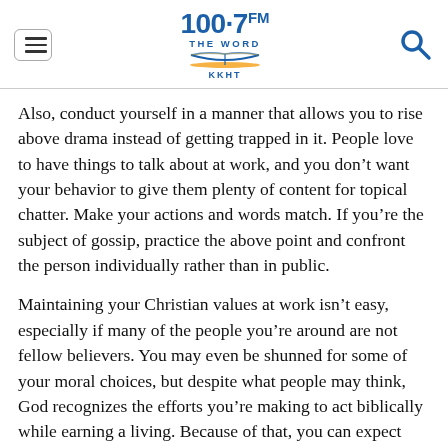100.7 FM THE WORD KKHT
Also, conduct yourself in a manner that allows you to rise above drama instead of getting trapped in it. People love to have things to talk about at work, and you don't want your behavior to give them plenty of content for topical chatter. Make your actions and words match. If you're the subject of gossip, practice the above point and confront the person individually rather than in public.
Maintaining your Christian values at work isn't easy, especially if many of the people you're around are not fellow believers. You may even be shunned for some of your moral choices, but despite what people may think, God recognizes the efforts you're making to act biblically while earning a living. Because of that, you can expect eventual rewards for your earthly conduct when your